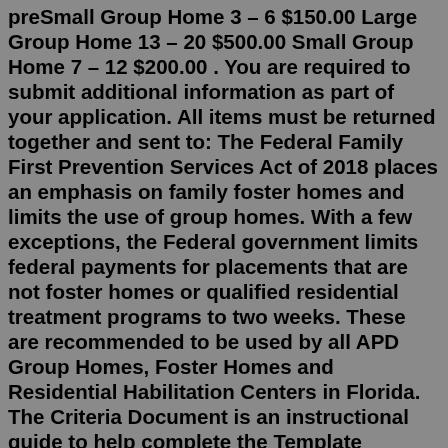preSmall Group Home 3 – 6 $150.00 Large Group Home 13 – 20 $500.00 Small Group Home 7 – 12 $200.00 . You are required to submit additional information as part of your application. All items must be returned together and sent to: The Federal Family First Prevention Services Act of 2018 places an emphasis on family foster homes and limits the use of group homes. With a few exceptions, the Federal government limits federal payments for placements that are not foster homes or qualified residential treatment programs to two weeks. These are recommended to be used by all APD Group Homes, Foster Homes and Residential Habilitation Centers in Florida. The Criteria Document is an instructional guide to help complete the Template Document. The Template, when completed, will become the emergency plan. If you are interested in opening an APD licensed group home, be sure to check ... Group home facilities can be costly, averaging between $65,000-$120,000 annually; this covers the entire cost of the individual living in the facility, including food,